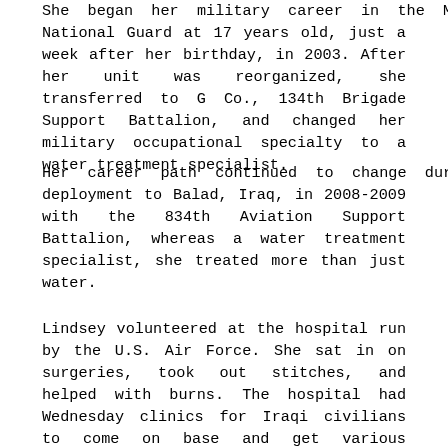She began her military career in the Minnesota National Guard at 17 years old, just a week after her birthday, in 2003. After her unit was reorganized, she transferred to G Co., 134th Brigade Support Battalion, and changed her military occupational specialty to a water treatment specialist.
Her career path continued to change during her deployment to Balad, Iraq, in 2008-2009 with the 834th Aviation Support Battalion, whereas a water treatment specialist, she treated more than just water.
Lindsey volunteered at the hospital run by the U.S. Air Force. She sat in on surgeries, took out stitches, and helped with burns. The hospital had Wednesday clinics for Iraqi civilians to come on base and get various treatments, said Lindsey. “That’s when I fell in love with and wanted to be in the medical field. If I was going to stay in the military any longer, 68W (combat medic) is